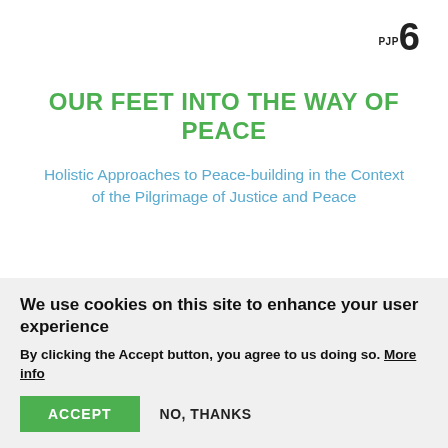PJP 6
OUR FEET INTO THE WAY OF PEACE
Holistic Approaches to Peace-building in the Context of the Pilgrimage of Justice and Peace
Ibrahim Wushishi Yusuf
Jin Yang Kim (Editors)
We use cookies on this site to enhance your user experience
By clicking the Accept button, you agree to us doing so. More info
ACCEPT   NO, THANKS